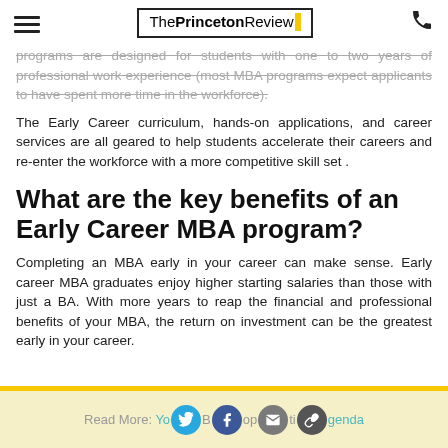The Princeton Review
programs are designed for students with one to two years of professional work experience (most MBA programs expect applicants to have spent more time in the workforce).
The Early Career curriculum, hands-on applications, and career services are all geared to help students accelerate their careers and re-enter the workforce with a more competitive skill set .
What are the key benefits of an Early Career MBA program?
Completing an MBA early in your career can make sense. Early career MBA graduates enjoy higher starting salaries than those with just a BA. With more years to reap the financial and professional benefits of your MBA, the return on investment can be the greatest early in your career.
Read More: Your Blog Topics Agenda